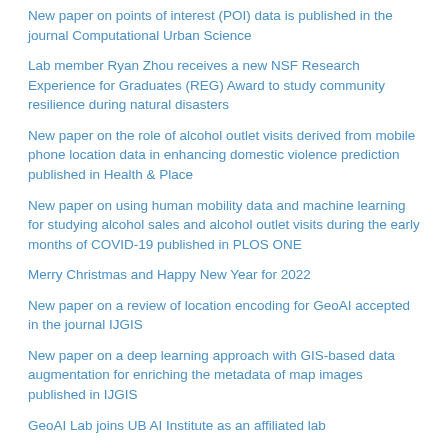New paper on points of interest (POI) data is published in the journal Computational Urban Science
Lab member Ryan Zhou receives a new NSF Research Experience for Graduates (REG) Award to study community resilience during natural disasters
New paper on the role of alcohol outlet visits derived from mobile phone location data in enhancing domestic violence prediction published in Health & Place
New paper on using human mobility data and machine learning for studying alcohol sales and alcohol outlet visits during the early months of COVID-19 published in PLOS ONE
Merry Christmas and Happy New Year for 2022
New paper on a review of location encoding for GeoAI accepted in the journal IJGIS
New paper on a deep learning approach with GIS-based data augmentation for enriching the metadata of map images published in IJGIS
GeoAI Lab joins UB AI Institute as an affiliated lab
Dr. Hu receives a new NSF grant on using GeoAI approaches for